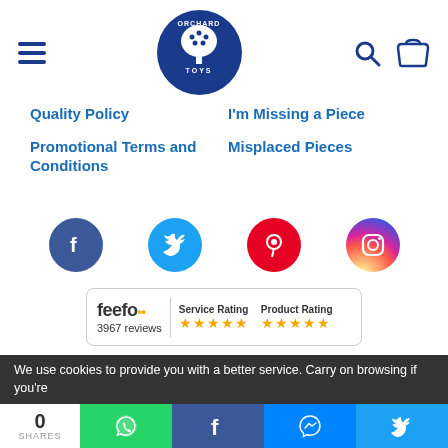[Figure (logo): Orchard Toys logo - circular dark blue badge with tree illustration and text]
Quality Policy
I'm Missing a Piece
Promotional Terms and Conditions
Misplaced Pieces
[Figure (illustration): Social media icons: Facebook, Twitter, Pinterest, Instagram]
[Figure (screenshot): Feefo Service Rating and Product Rating widget showing 3967 reviews with 5 stars each]
© 2021 Orchard Toys
Registered in England and Wales No. 1460458
Registered Office: Cawley House, Canal Street,
We use cookies to provide you with a better service. Carry on browsing if you're
0 SHARES